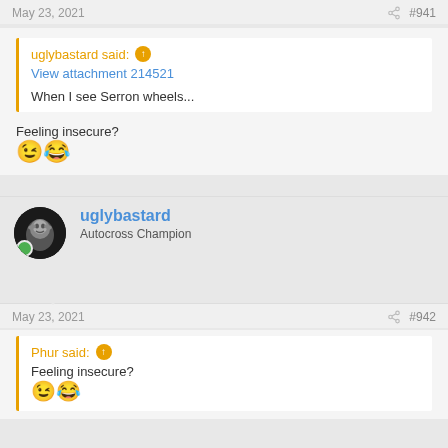May 23, 2021   #941
uglybastard said:
View attachment 214521
When I see Serron wheels...
Feeling insecure? 😉😂
uglybastard
Autocross Champion
May 23, 2021   #942
Phur said:
Feeling insecure? 😉😂